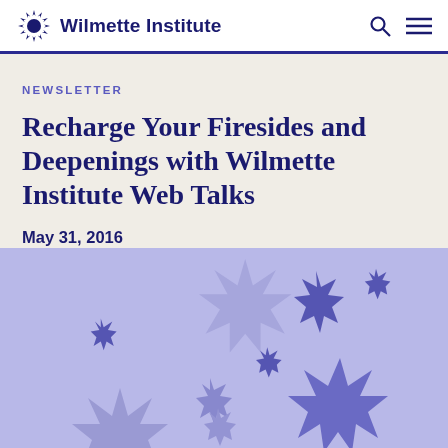Wilmette Institute
NEWSLETTER
Recharge Your Firesides and Deepenings with Wilmette Institute Web Talks
May 31, 2016
[Figure (illustration): Light purple/periwinkle background with multiple decorative star shapes of varying sizes in darker purple and blue-purple tones scattered across the image.]